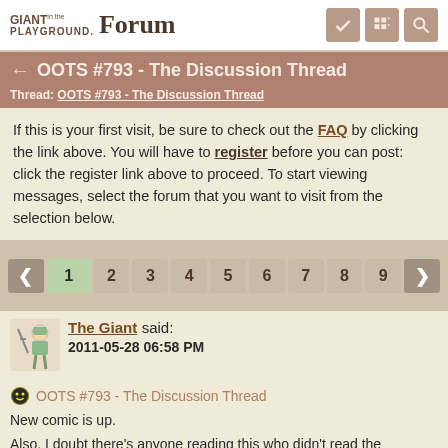Giant in the Playground Forum
OOTS #793 - The Discussion Thread
Thread: OOTS #793 - The Discussion Thread
If this is your first visit, be sure to check out the FAQ by clicking the link above. You will have to register before you can post: click the register link above to proceed. To start viewing messages, select the forum that you want to visit from the selection below.
1 2 3 4 5 6 7 8 9
The Giant said:
2011-05-28 06:58 PM
OOTS #793 - The Discussion Thread
New comic is up.
Also, I doubt there's anyone reading this who didn't read the